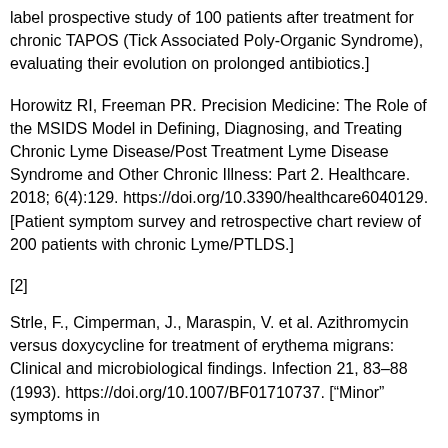label prospective study of 100 patients after treatment for chronic TAPOS (Tick Associated Poly-Organic Syndrome), evaluating their evolution on prolonged antibiotics.]
Horowitz RI, Freeman PR. Precision Medicine: The Role of the MSIDS Model in Defining, Diagnosing, and Treating Chronic Lyme Disease/Post Treatment Lyme Disease Syndrome and Other Chronic Illness: Part 2. Healthcare. 2018; 6(4):129. https://doi.org/10.3390/healthcare6040129. [Patient symptom survey and retrospective chart review of 200 patients with chronic Lyme/PTLDS.]
[2]
Strle, F., Cimperman, J., Maraspin, V. et al. Azithromycin versus doxycycline for treatment of erythema migrans: Clinical and microbiological findings. Infection 21, 83–88 (1993). https://doi.org/10.1007/BF01710737. ["Minor" symptoms in